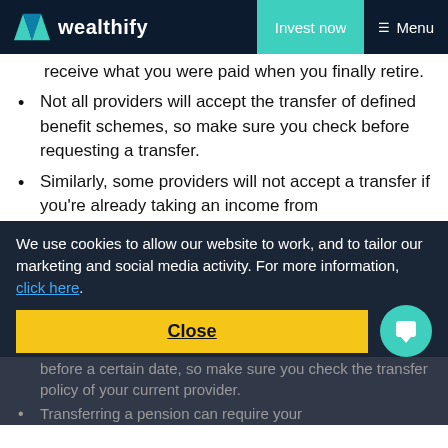wealthify | Invest now | Menu
receive what you were paid when you finally retire.
Not all providers will accept the transfer of defined benefit schemes, so make sure you check before requesting a transfer.
Similarly, some providers will not accept a transfer if you're already taking an income from your pension.
Some providers will charge an exit fee for transferring out before a certain date, so make sure you check the transfer policy of your current provider.
Transferring a pension can require your
We use cookies to allow our website to work, and to tailor our marketing and social media activity. For more information, click here.
Close